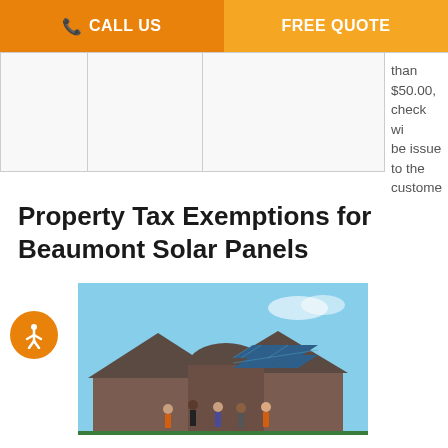CALL US | FREE QUOTE
|  |  |  | than $50.00, check will be issued to the customer |
Property Tax Exemptions for Beaumont Solar Panels
[Figure (photo): Group of workers standing in front of a brick house with solar panels installed on the roof, blue sky background]